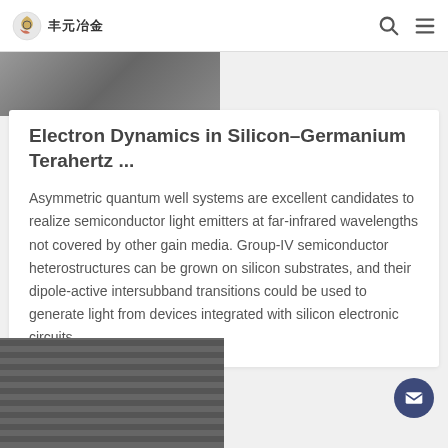丰元冶金
[Figure (photo): Grayscale photo of metallic industrial surface, partially visible at top]
Electron Dynamics in Silicon–Germanium Terahertz ...
Asymmetric quantum well systems are excellent candidates to realize semiconductor light emitters at far-infrared wavelengths not covered by other gain media. Group-IV semiconductor heterostructures can be grown on silicon substrates, and their dipole-active intersubband transitions could be used to generate light from devices integrated with silicon electronic circuits.
[Figure (photo): Grayscale photo of stacked circular metallic industrial discs or ingots]
[Figure (other): Email contact floating action button, dark navy circle with envelope icon]